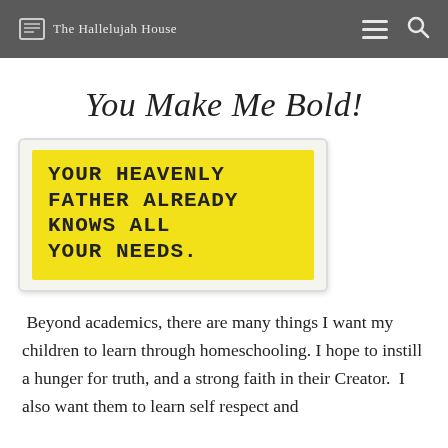The Hallelujah House
You Make Me Bold!
[Figure (illustration): Yellow card/sign with bold uppercase text reading: YOUR HEAVENLY FATHER ALREADY KNOWS ALL YOUR NEEDS. on a white torn-paper style background.]
Beyond academics, there are many things I want my children to learn through homeschooling. I hope to instill a hunger for truth, and a strong faith in their Creator.  I also want them to learn self respect and